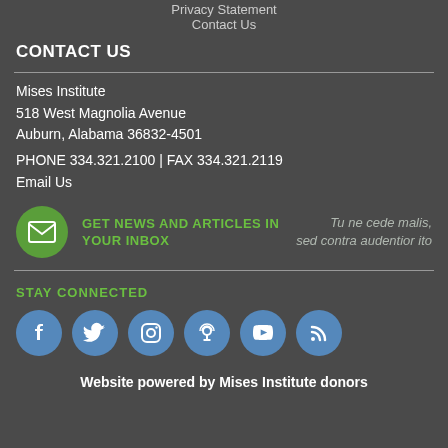Privacy Statement
Contact Us
CONTACT US
Mises Institute
518 West Magnolia Avenue
Auburn, Alabama 36832-4501
PHONE 334.321.2100 | FAX 334.321.2119
Email Us
[Figure (infographic): Green envelope circle icon with newsletter sign-up text 'GET NEWS AND ARTICLES IN YOUR INBOX' and Latin quote 'Tu ne cede malis, sed contra audentior ito']
STAY CONNECTED
[Figure (infographic): Row of six social media icons (Facebook, Twitter, Instagram, Podcast, YouTube, RSS) in blue circles]
Website powered by Mises Institute donors